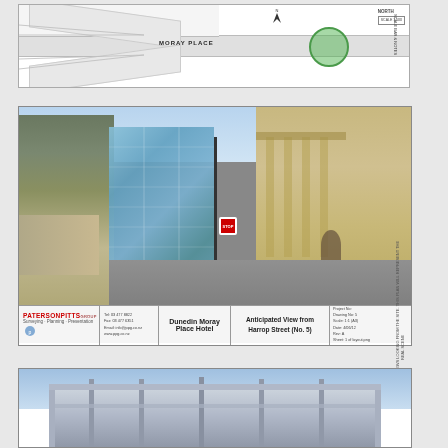[Figure (map): Site plan / map diagram showing Moray Place street layout with roundabout indicated by green circle, road lines, and label 'MORAY PLACE']
[Figure (photo): Architectural visualisation photo showing anticipated view from Harrop Street (No. 5) of the Dunedin Moray Place Hotel site, with a glass modern building visible between historic stone buildings and a war memorial with steps on the left. Street scene with pedestrians and stop sign visible.]
Dunedin Moray Place Hotel — Anticipated View from Harrop Street (No. 5)
[Figure (photo): Partial view of another architectural visualisation (cropped at bottom of page), showing blue sky and structural elements.]